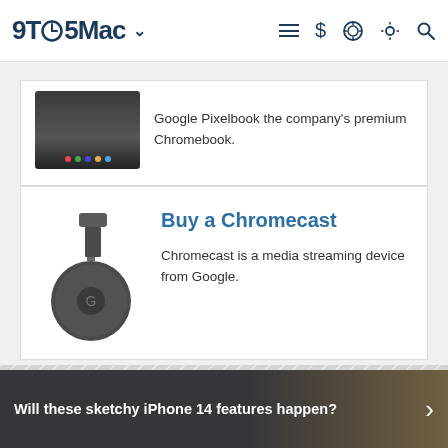9TO5Mac
[Figure (photo): Google Pixelbook laptop with colorful dots visible on keyboard]
Google Pixelbook the company's premium Chromebook.
Buy a Chromecast
[Figure (photo): Google Chromecast streaming dongle device]
Chromecast is a media streaming device from Google.
Will these sketchy iPhone 14 features happen?